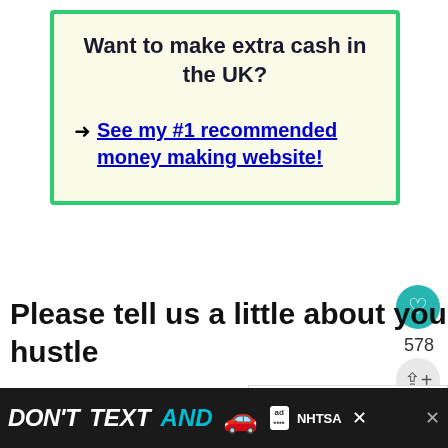[Figure (infographic): Advertisement box with light yellow background and green border containing headline 'Want to make extra cash in the UK?' and a bold blue underlined link 'See my #1 recommended money making website!']
Please tell us a little about yourself and your side hustle
I run a money-saving blog called www.greatdealsandpenny.com and
[Figure (infographic): Bottom advertisement banner with dark background showing 'DON'T TEXT AND' text with car emoji and NHTSA logo]